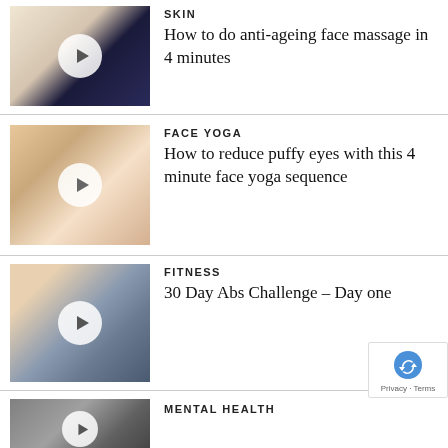[Figure (photo): Two women, one with hand on face, one standing in dark outfit — skin care video thumbnail with play button]
SKIN
How to do anti-ageing face massage in 4 minutes
[Figure (photo): Close-up of an eye — face yoga video thumbnail with play button]
FACE YOGA
How to reduce puffy eyes with this 4 minute face yoga sequence
[Figure (photo): Person doing ab exercises on the floor with water bottle — fitness video thumbnail with play button]
FITNESS
30 Day Abs Challenge – Day one
[Figure (photo): Brick wall — mental health video thumbnail with play button]
MENTAL HEALTH